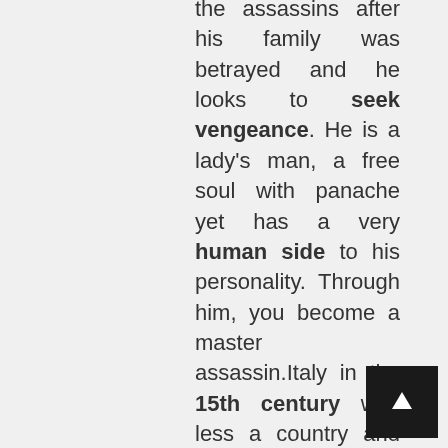the assassins after his family was betrayed and he looks to seek vengeance. He is a lady's man, a free soul with panache yet has a very human side to his personality. Through him, you become a master assassin.Italy in the 15th century was less a country and more a collection of city-states where families with political and economic strength began to take leadership roles in cities like Florence and Venice. This journey through some of the most beautiful cities in the world takes place in a time in history where culture and art were born alongside some of the most chilling stories of corruption, greed and murder.